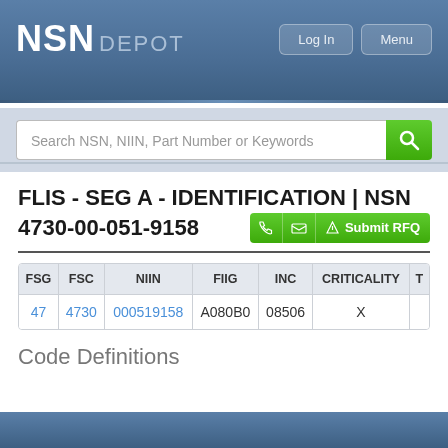NSN DEPOT | Log In | Menu
Search NSN, NIIN, Part Number or Keywords
FLIS - SEG A - IDENTIFICATION | NSN 4730-00-051-9158
| FSG | FSC | NIIN | FIIG | INC | CRITICALITY | T |
| --- | --- | --- | --- | --- | --- | --- |
| 47 | 4730 | 000519158 | A080B0 | 08506 | X |  |
Code Definitions